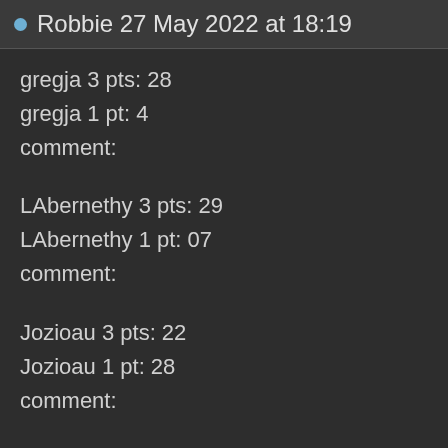Robbie 27 May 2022 at 18:19
gregja 3 pts: 28
gregja 1 pt: 4
comment:
LAbernethy 3 pts: 29
LAbernethy 1 pt: 07
comment:
Jozioau 3 pts: 22
Jozioau 1 pt: 28
comment: